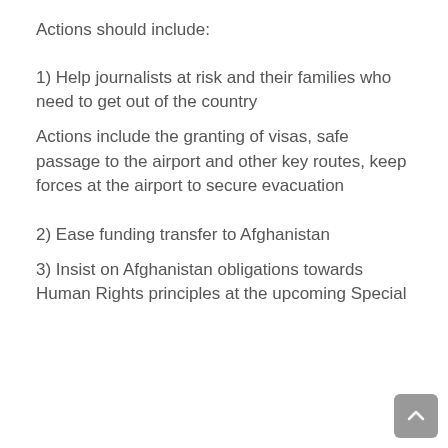Actions should include:
1) Help journalists at risk and their families who need to get out of the country
Actions include the granting of visas, safe passage to the airport and other key routes, keep forces at the airport to secure evacuation
2) Ease funding transfer to Afghanistan
3) Insist on Afghanistan obligations towards Human Rights principles at the upcoming Special